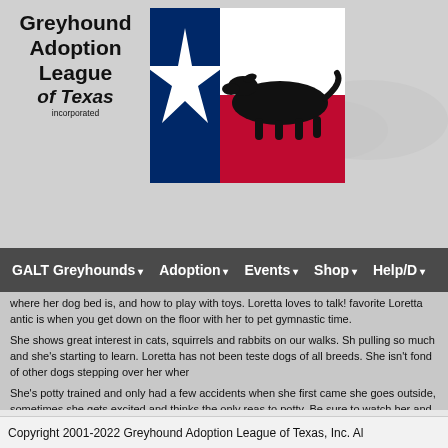[Figure (logo): Greyhound Adoption League of Texas logo with Texas flag and silhouette of running greyhound]
GALT Greyhounds  Adoption  Events  Shop  Help/D
where her dog bed is, and how to play with toys. Loretta loves to talk! favorite Loretta antic is when you get down on the floor with her to pet gymnastic time.
She shows great interest in cats, squirrels and rabbits on our walks. Sh pulling so much and she's starting to learn. Loretta has not been teste dogs of all breeds. She isn't fond of other dogs stepping over her wher
She's potty trained and only had a few accidents when she first came she goes outside, sometimes she gets excited and thinks the only reas to potty. Be sure to watch her and make sure she does what she is su with them and loves to roll on her back and smile! We love her to piece loved.
— Loretta's Foster Family
Copyright 2001-2022 Greyhound Adoption League of Texas, Inc. Al